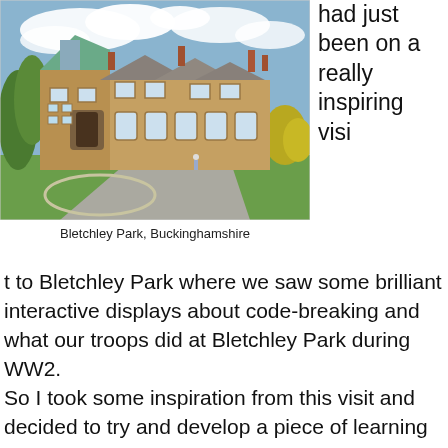[Figure (photo): Exterior photograph of Bletchley Park mansion, Buckinghamshire. A large Victorian/Edwardian red-brick manor house with ornate gabled rooflines, a green copper-roofed turret, arched entrance, and manicured grounds under a blue sky with clouds.]
Bletchley Park, Buckinghamshire
had just been on a really inspiring visit to Bletchley Park where we saw some brilliant interactive displays about code-breaking and what our troops did at Bletchley Park during WW2.
So I took some inspiration from this visit and decided to try and develop a piece of learning around
t to Bletchley Park where we saw some brilliant interactive displays about code-breaking and what our troops did at Bletchley Park during WW2.
So I took some inspiration from this visit and decided to try and develop a piece of learning around